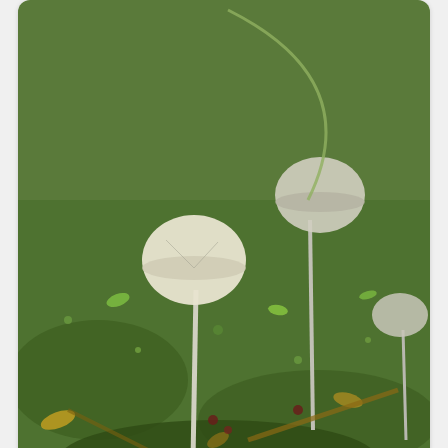[Figure (photo): Close-up photo of small mushrooms growing among green moss on forest floor, with thin white stems and small caps, DSC_0962]
Small mushrooms & moss Гъби и спори на мъх DSC_0962
[Figure (photo): Empty card placeholder with light gray background]
[Figure (photo): Autumn forest scene with tall thin trees (birch and pine) and golden yellow foliage, forest path visible]